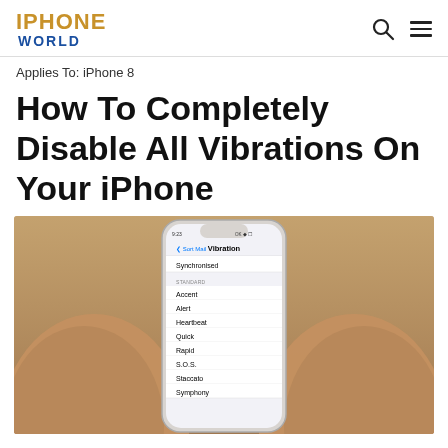IPHONE WORLD
Applies To: iPhone 8
How To Completely Disable All Vibrations On Your iPhone
[Figure (photo): Hands holding an iPhone displaying the Vibration settings screen, showing options: Synchronized, Accent, Alert, Heartbeat, Quick, Rapid, S.O.S., Staccato, Symphony]